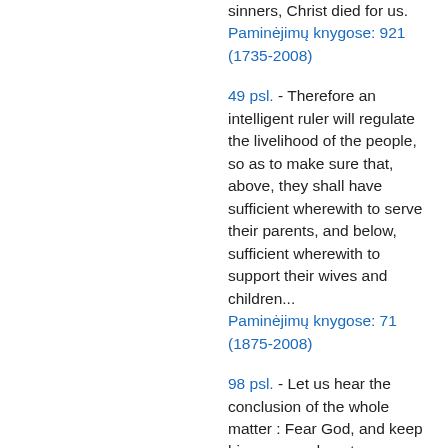sinners, Christ died for us. Paminėjimų knygose: 921 (1735-2008)
49 psl. - Therefore an intelligent ruler will regulate the livelihood of the people, so as to make sure that, above, they shall have sufficient wherewith to serve their parents, and below, sufficient wherewith to support their wives and children... Paminėjimų knygose: 71 (1875-2008)
98 psl. - Let us hear the conclusion of the whole matter : Fear God, and keep his commandments